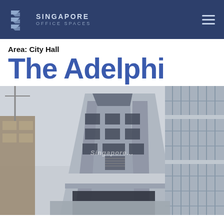SINGAPORE OFFICE SPACES
Area: City Hall
The Adelphi
[Figure (photo): Upward-looking photograph of The Adelphi building in Singapore, showing modern commercial architecture with glass and concrete facade against an overcast sky, with adjacent buildings visible on either side. A Singapore Office Spaces watermark is visible in the center of the image.]